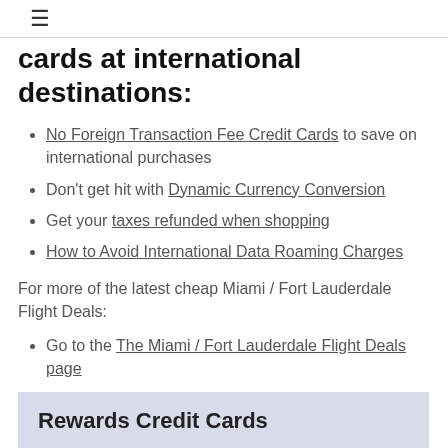≡
cards at international destinations:
No Foreign Transaction Fee Credit Cards to save on international purchases
Don't get hit with Dynamic Currency Conversion
Get your taxes refunded when shopping
How to Avoid International Data Roaming Charges
For more of the latest cheap Miami / Fort Lauderdale Flight Deals:
Go to the The Miami / Fort Lauderdale Flight Deals page
Rewards Credit Cards